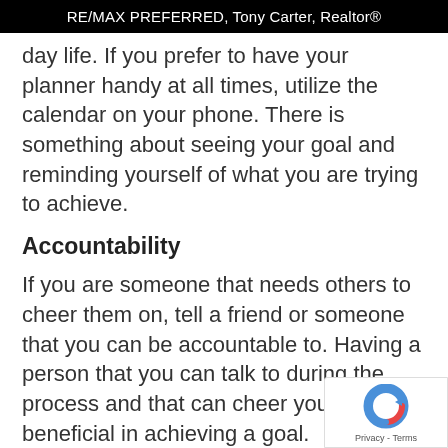RE/MAX PREFERRED, Tony Carter, Realtor®
day life. If you prefer to have your planner handy at all times, utilize the calendar on your phone. There is something about seeing your goal and reminding yourself of what you are trying to achieve.
Accountability
If you are someone that needs others to cheer them on, tell a friend or someone that you can be accountable to. Having a person that you can talk to during the process and that can cheer you on is beneficial in achieving a goal. Disappointing others is always a motivati factor when someone wants to change th